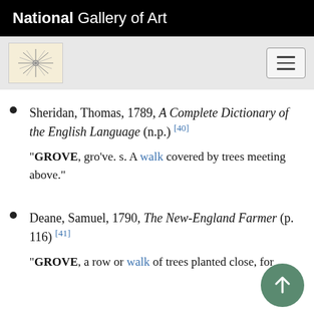National Gallery of Art
Sheridan, Thomas, 1789, A Complete Dictionary of the English Language (n.p.) [40]
"GROVE, gro've. s. A walk covered by trees meeting above."
Deane, Samuel, 1790, The New-England Farmer (p. 116) [41]
"GROVE, a row or walk of trees planted close, for